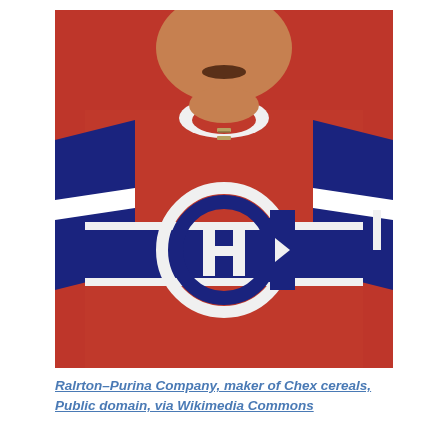[Figure (photo): A man wearing a Montreal Canadiens red NHL hockey jersey with the CH logo on the chest, blue sleeves with white stripes, and a lace-up collar. The photo is a close-up portrait-style shot against a red background.]
Ralrton–Purina Company, maker of Chex cereals, Public domain, via Wikimedia Commons